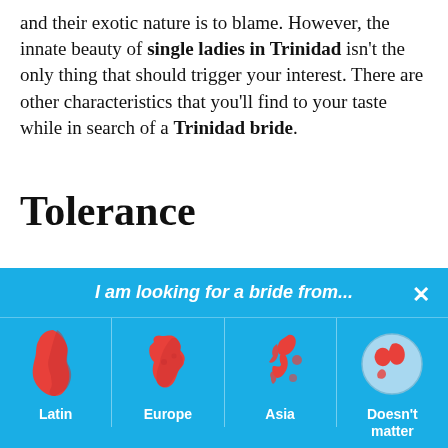and their exotic nature is to blame. However, the innate beauty of single ladies in Trinidad isn't the only thing that should trigger your interest. There are other characteristics that you'll find to your taste while in search of a Trinidad bride.
Tolerance
Trinidad and Tobago combine several completely different cultures, but their coexistence is peaceful. There are three prevalent religions: Christian, Islamic, and Hindu. Since childhood, Trinidad girls for marriage learn to be tolerant and bearing towards
[Figure (infographic): Blue banner popup: 'I am looking for a bride from...' with X close button, and four region options: Latin (South America map icon), Europe (Europe map icon), Asia (Japan/Asia map icon), Doesn't matter (globe icon)]